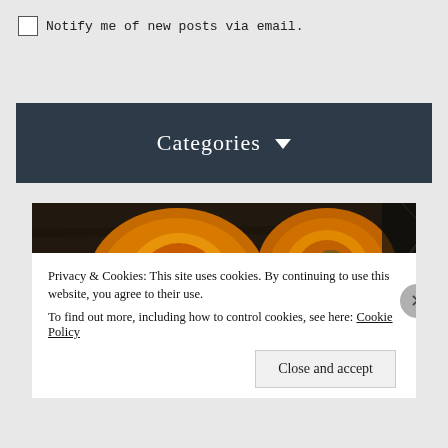Notify me of new posts via email.
Categories ▾
[Figure (photo): Cut pumpkins/squash halves showing seeds inside, placed on dark wooden surface with dried leaves and cobweb decoration, dark moody styling]
Privacy & Cookies: This site uses cookies. By continuing to use this website, you agree to their use. To find out more, including how to control cookies, see here: Cookie Policy
Close and accept